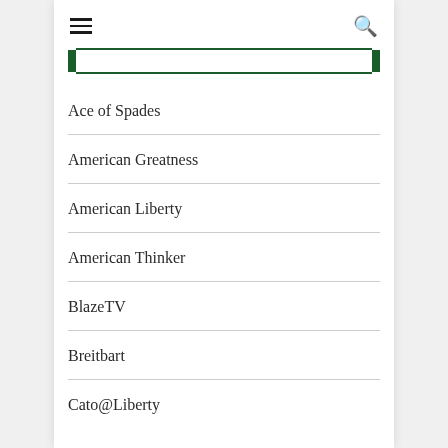[Figure (other): Hamburger menu icon (three horizontal lines) on the left and a search magnifying glass icon on the right, forming a navigation bar]
[Figure (other): Search input bar with dark green left and right border markers]
Ace of Spades
American Greatness
American Liberty
American Thinker
BlazeTV
Breitbart
Cato@Liberty